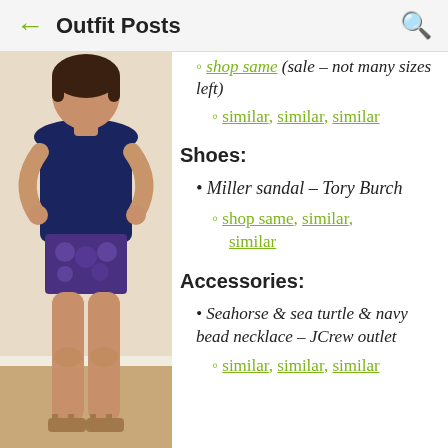Outfit Posts
[Figure (photo): Woman wearing navy top and patterned shorts with tan sandals, standing facing forward indoors]
shop same (sale – not many sizes left)
similar, similar, similar
Shoes:
Miller sandal – Tory Burch
shop same, similar, similar
Accessories:
Seahorse & sea turtle & navy bead necklace – JCrew outlet
similar, similar, similar